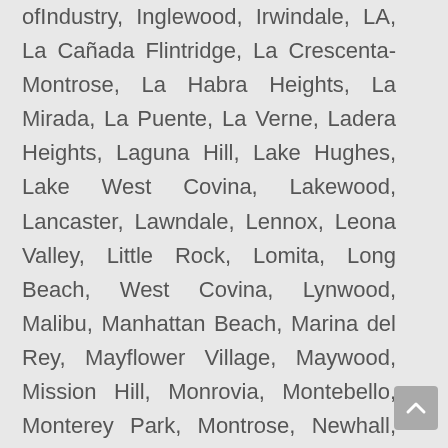ofIndustry, Inglewood, Irwindale, LA, La Cañada Flintridge, La Crescenta-Montrose, La Habra Heights, La Mirada, La Puente, La Verne, Ladera Heights, Laguna Hill, Lake Hughes, Lake West Covina, Lakewood, Lancaster, Lawndale, Lennox, Leona Valley, Little Rock, Lomita, Long Beach, West Covina, Lynwood, Malibu, Manhattan Beach, Marina del Rey, Mayflower Village, Maywood, Mission Hill, Monrovia, Montebello, Monterey Park, Montrose, Newhall, North El Monte, North Hollywood, Northridge, Norwalk, Palmdale, Palos Verdes Estates, Palos Verdes Peninsula, Paramount, Pasadena, Pico Rivera, Pomona, Quartz Hill, Rancho Palos Verdes, Rancho Santa Margarita, Redondo Beach, Reseda, Rolling Hills Estates, Rose Hills, Rosemead, Rowland Heights, San Dimas, San Fernando, San Gabriel, San Marino, San